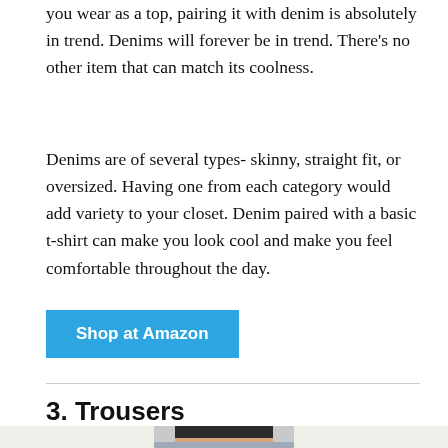you wear as a top, pairing it with denim is absolutely in trend. Denims will forever be in trend. There's no other item that can match its coolness.
Denims are of several types- skinny, straight fit, or oversized. Having one from each category would add variety to your closet. Denim paired with a basic t-shirt can make you look cool and make you feel comfortable throughout the day.
Shop at Amazon
3. Trousers
[Figure (photo): Partial photo of a person wearing a black crop top and light blue/gray trousers, cropped at the waist/midriff area.]